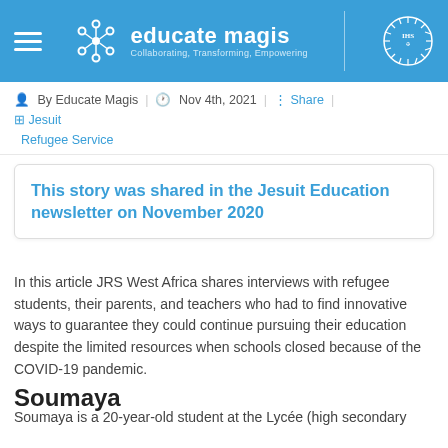educate magis — Collaborating, Transforming, Empowering
By Educate Magis  |  Nov 4th, 2021  |  Share  |  Jesuit Refugee Service
This story was shared in the Jesuit Education newsletter on November 2020
In this article JRS West Africa shares interviews with refugee students, their parents, and teachers who had to find innovative ways to guarantee they could continue pursuing their education despite the limited resources when schools closed because of the COVID-19 pandemic.
Soumaya
Soumaya is a 20-year-old student at the Lycée (high secondary